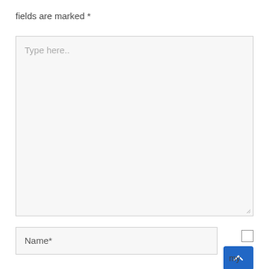fields are marked *
[Figure (screenshot): A large textarea input field with placeholder text 'Type here..' and a resize handle in the bottom-right corner. Background is light gray.]
[Figure (screenshot): A text input field with placeholder 'Name*', a checkbox to the right, a blue button with an upward chevron arrow (save/scroll-to-top button), and the text 'my' below the button.]